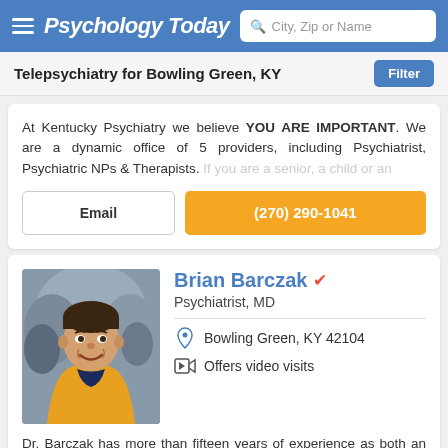Psychology Today — City, Zip or Name search bar
Telepsychiatry for Bowling Green, KY
At Kentucky Psychiatry we believe YOU ARE IMPORTANT. We are a dynamic office of 5 providers, including Psychiatrist, Psychiatric NPs & Therapists. If you are a senior, a child or an
Email
(270) 290-1041
Brian Barczak
Psychiatrist, MD
Bowling Green, KY 42104
Offers video visits
Dr. Barczak has more than fifteen years of experience as both an inpatient and outpatient psychiatrist. He values taking a holistic approach to patient care, individualizing each patient